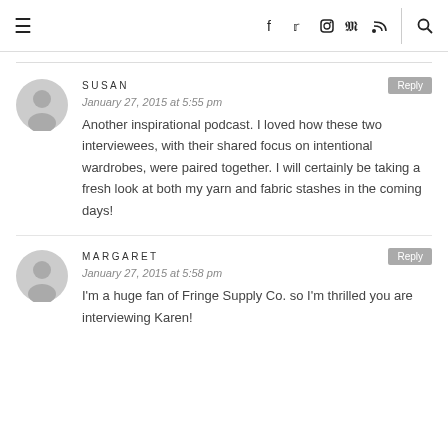≡  f  t  (instagram)  (pinterest)  (rss)  (search)
SUSAN
January 27, 2015 at 5:55 pm
Another inspirational podcast. I loved how these two interviewees, with their shared focus on intentional wardrobes, were paired together. I will certainly be taking a fresh look at both my yarn and fabric stashes in the coming days!
MARGARET
January 27, 2015 at 5:58 pm
I'm a huge fan of Fringe Supply Co. so I'm thrilled you are interviewing Karen!